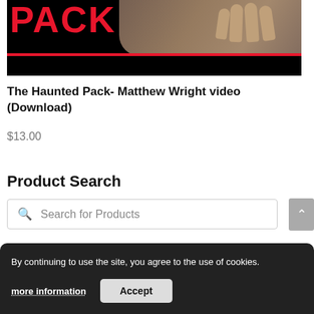[Figure (photo): Product thumbnail image showing 'PACK' text in red on black background with a hand holding cards, and a red horizontal line beneath]
The Haunted Pack- Matthew Wright video (Download)
$13.00
Product Search
Search for Products
Product Categories
Back in S...
Beginner Magic (166)
By continuing to use the site, you agree to the use of cookies.
more information
Accept